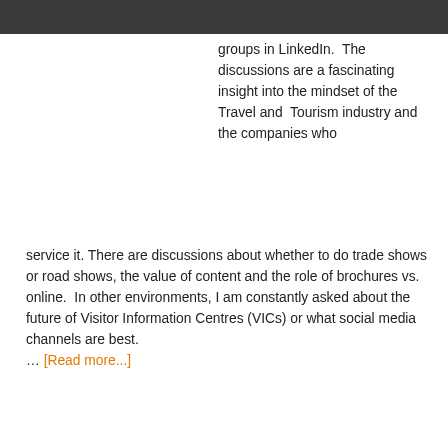groups in LinkedIn.  The discussions are a fascinating insight into the mindset of the Travel and  Tourism industry and the companies who service it. There are discussions about whether to do trade shows or road shows, the value of content and the role of brochures vs. online.  In other environments, I am constantly asked about the future of Visitor Information Centres (VICs) or what social media channels are best. … [Read more...]
Filed Under: Blog, Free Content
Millennial Travellers More